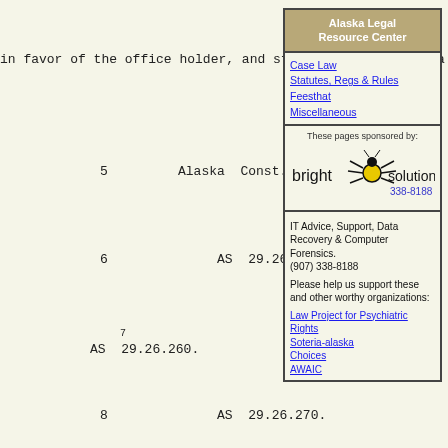in favor of the office holder, and states that treat reca
5        Alaska  Const.  art.  § 8.
6             AS  29.26.250.
7
AS  29.26.260.
8             AS  29.26.270.
[Figure (other): Alaska Legal Resource Center sidebar with navigation links (Case Law, Statutes Regs & Rules, Fees/that, Miscellaneous), Bright Solutions sponsor logo with spider graphic and phone number 338-8188, IT Advice support text, and links to Law Project for Psychiatric Rights, Soteria-alaska, Choices, AWAIC]